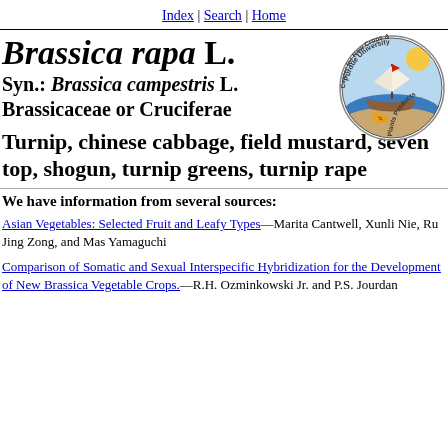Index | Search | Home
Brassica rapa L.
Syn.: Brassica campestris L.
Brassicaceae or Cruciferae
Turnip, chinese cabbage, field mustard, seven top, shogun, turnip greens, turnip rape
[Figure (logo): Purdue University Center for New Crops & Plants Products circular logo with ship illustration]
We have information from several sources:
Asian Vegetables: Selected Fruit and Leafy Types—Marita Cantwell, Xunli Nie, Ru Jing Zong, and Mas Yamaguchi
Comparison of Somatic and Sexual Interspecific Hybridization for the Development of New Brassica Vegetable Crops.—R.H. Ozminkowski Jr. and P.S. Jourdan